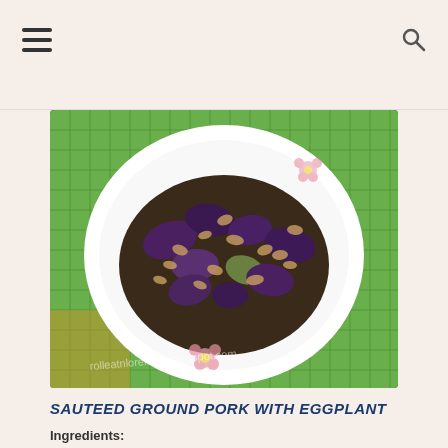[Figure (photo): A white bowl with flower design containing sauteed ground pork with eggplant, placed on a green woven placemat. Watermark text reads 'rolleatnloremom.blogspot.com']
SAUTEED GROUND PORK WITH EGGPLANT
Ingredients: